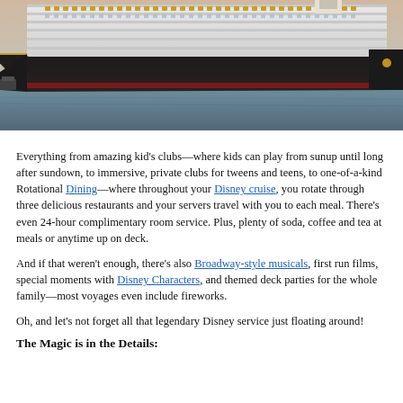[Figure (photo): A large Disney cruise ship viewed from the side, docked at port, photographed at dusk with calm water in the foreground.]
Everything from amazing kid's clubs—where kids can play from sunup until long after sundown, to immersive, private clubs for tweens and teens, to one-of-a-kind Rotational Dining—where throughout your Disney cruise, you rotate through three delicious restaurants and your servers travel with you to each meal. There's even 24-hour complimentary room service. Plus, plenty of soda, coffee and tea at meals or anytime up on deck.
And if that weren't enough, there's also Broadway-style musicals, first run films, special moments with Disney Characters, and themed deck parties for the whole family—most voyages even include fireworks.
Oh, and let's not forget all that legendary Disney service just floating around!
The Magic is in the Details: